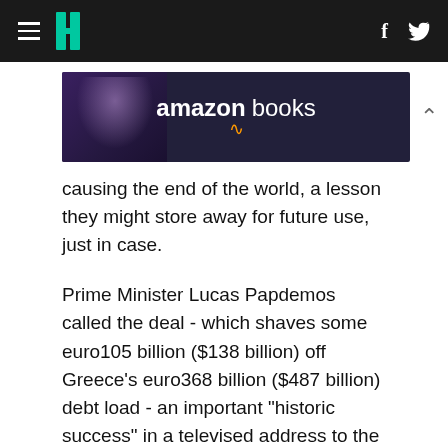HuffPost navigation header with hamburger menu, logo, Facebook and Twitter icons
[Figure (photo): Amazon Books advertisement banner showing a woman reading, with 'amazon books' text and logo on dark background]
causing the end of the world, a lesson they might store away for future use, just in case.
Prime Minister Lucas Papdemos called the deal - which shaves some euro105 billion ($138 billion) off Greece's euro368 billion ($487 billion) debt load - an important "historic success" in a televised address to the nation Friday night. "For the first time, Greece is not adding but taking debt off the backs of its citizens."
The country said 83.5 percent of private